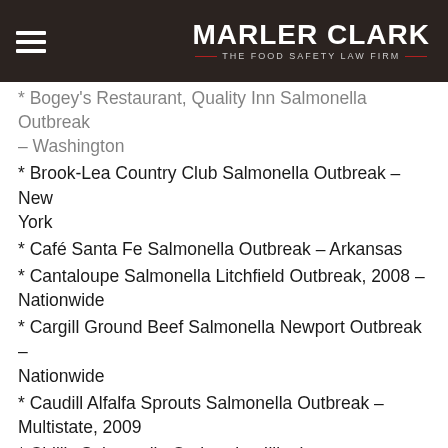MARLER CLARK — THE FOOD SAFETY LAW FIRM
* Bogey's Restaurant, Quality Inn Salmonella Outbreak – Washington
* Brook-Lea Country Club Salmonella Outbreak – New York
* Café Santa Fe Salmonella Outbreak – Arkansas
* Cantaloupe Salmonella Litchfield Outbreak, 2008 – Nationwide
* Cargill Ground Beef Salmonella Newport Outbreak – Nationwide
* Caudill Alfalfa Sprouts Salmonella Outbreak – Multistate, 2009
* Chili's Salmonella Outbreak – Illinois
* City of Alamosa Salmonella Outbreak – Colorado
* ConAgra Marie Callender's Cheesy Chicken and Rice – Salmonella Chester outbreak